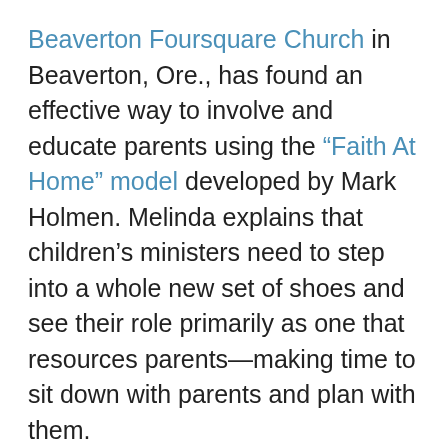Beaverton Foursquare Church in Beaverton, Ore., has found an effective way to involve and educate parents using the “Faith At Home” model developed by Mark Holmen. Melinda explains that children’s ministers need to step into a whole new set of shoes and see their role primarily as one that resources parents—making time to sit down with parents and plan with them.
At Beaverton Foursquare, the NextGen ministry holds regular “Take It Home” events, where moms and dads are given an opportunity to participate with their children in the Sunday program. Parents accompany their children to